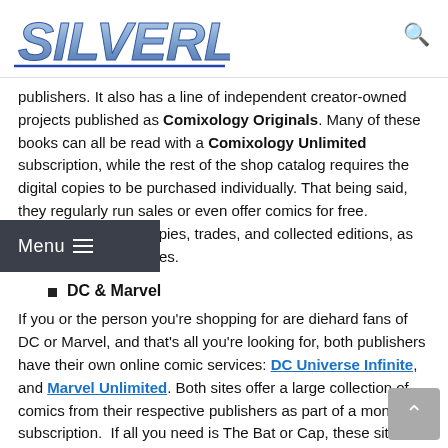SILVERLINE (logo)
publishers. It also has a line of independent creator-owned projects published as Comixology Originals. Many of these books can all be read with a Comixology Unlimited subscription, while the rest of the shop catalog requires the digital copies to be purchased individually. That being said, they regularly run sales or even offer comics for free. Offerings include floppies, trades, and collected editions, as well as curated bundles.
DC & Marvel
If you or the person you're shopping for are diehard fans of DC or Marvel, and that's all you're looking for, both publishers have their own online comic services: DC Universe Infinite, and Marvel Unlimited. Both sites offer a large collection of comics from their respective publishers as part of a monthly subscription.  If all you need is The Bat or Cap, these sites could be your solution.